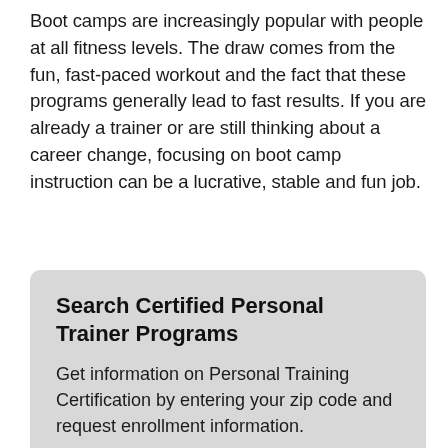Boot camps are increasingly popular with people at all fitness levels. The draw comes from the fun, fast-paced workout and the fact that these programs generally lead to fast results. If you are already a trainer or are still thinking about a career change, focusing on boot camp instruction can be a lucrative, stable and fun job.
Search Certified Personal Trainer Programs
Get information on Personal Training Certification by entering your zip code and request enrollment information.